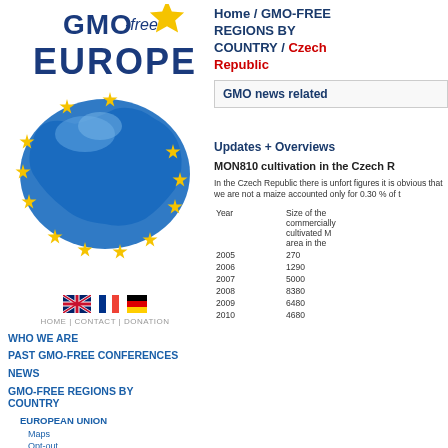[Figure (logo): GMO-free Europe logo with blue map of Europe surrounded by yellow stars and yellow star top right, text 'GMO -free EUROPE' in dark blue bold font]
[Figure (illustration): Three country flags: UK (Union Jack), France (tricolor), Germany (tricolor black-red-gold)]
HOME | CONTACT | DONATION
Who we are
PAST GMO-FREE CONFERENCES
NEWS
GMO-FREE REGIONS BY COUNTRY
EUROPEAN UNION
Maps
Opt-out
Home / GMO-FREE REGIONS BY COUNTRY / Czech Republic
GMO news related
Updates + Overviews
MON810 cultivation in the Czech R
In the Czech Republic there is unfort figures it is obvious that we are not a maize accounted only for 0.30 % of t
| Year | Size of the commercially cultivated M area in the |
| --- | --- |
| 2005 | 270 |
| 2006 | 1290 |
| 2007 | 5000 |
| 2008 | 8380 |
| 2009 | 6480 |
| 2010 | 4680 |